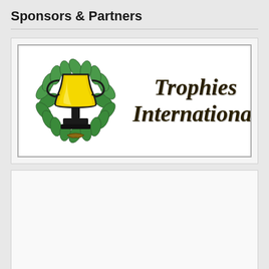Sponsors & Partners
[Figure (logo): Trophies International logo featuring a golden trophy cup with black outline inside a green laurel wreath, with italic script text reading 'Trophies International']
[Figure (other): Empty sponsor/partner placeholder card with white background]